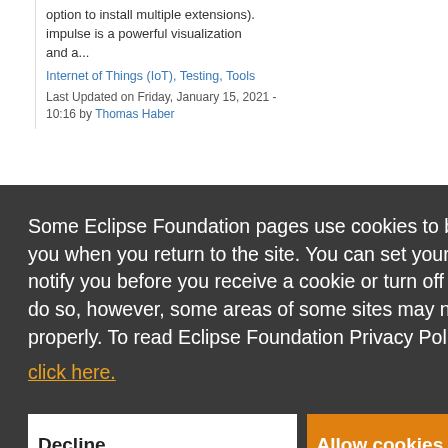option to install multiple extensions). impulse is a powerful visualization and a...
Internet of Things (IoT), Testing, Tools
Last Updated on Friday, January 15, 2021 - 10:16 by Thomas Haber
Some Eclipse Foundation pages use cookies to better serve you when you return to the site. You can set your browser to notify you before you receive a cookie or turn off cookies. If you do so, however, some areas of some sites may not function properly. To read Eclipse Foundation Privacy Policy click here.
Decline
Allow cookies